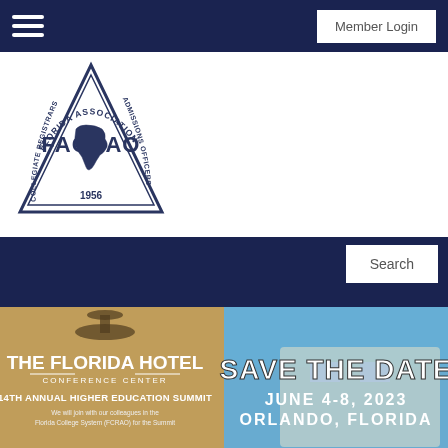Member Login
[Figure (logo): FACRAO logo — Florida Association Collegiate Registrars Admissions Officers triangle logo with state of Florida silhouette, 1956]
[Figure (infographic): Save the Date banner: The Florida Hotel Conference Center, 14th Annual Higher Education Summit, We will join with our colleagues in the Florida College System (FCRAO) for the Summit. SAVE THE DATE JUNE 4-8, 2023 ORLANDO, FLORIDA]